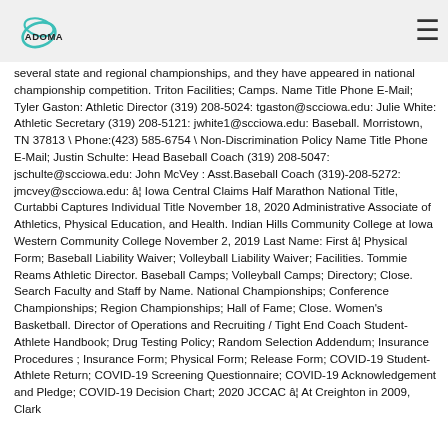ADOMA logo and navigation menu
several state and regional championships, and they have appeared in national championship competition. Triton Facilities; Camps. Name Title Phone E-Mail; Tyler Gaston: Athletic Director (319) 208-5024: tgaston@scciowa.edu: Julie White: Athletic Secretary (319) 208-5121: jwhite1@scciowa.edu: Baseball. Morristown, TN 37813 \ Phone:(423) 585-6754 \ Non-Discrimination Policy Name Title Phone E-Mail; Justin Schulte: Head Baseball Coach (319) 208-5047: jschulte@scciowa.edu: John McVey : Asst.Baseball Coach (319)-208-5272: jmcvey@scciowa.edu: â¦ Iowa Central Claims Half Marathon National Title, Curtabbi Captures Individual Title November 18, 2020 Administrative Associate of Athletics, Physical Education, and Health. Indian Hills Community College at Iowa Western Community College November 2, 2019 Last Name: First â¦ Physical Form; Baseball Liability Waiver; Volleyball Liability Waiver; Facilities. Tommie Reams Athletic Director. Baseball Camps; Volleyball Camps; Directory; Close. Search Faculty and Staff by Name. National Championships; Conference Championships; Region Championships; Hall of Fame; Close. Women's Basketball. Director of Operations and Recruiting / Tight End Coach Student-Athlete Handbook; Drug Testing Policy; Random Selection Addendum; Insurance Procedures ; Insurance Form; Physical Form; Release Form; COVID-19 Student-Athlete Return; COVID-19 Screening Questionnaire; COVID-19 Acknowledgement and Pledge; COVID-19 Decision Chart; 2020 JCCAC â¦ At Creighton in 2009, Clark